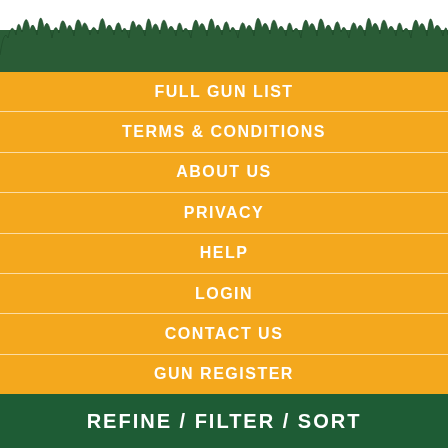[Figure (illustration): Dark green grass silhouette illustration at the top of the page against a white background]
FULL GUN LIST
TERMS & CONDITIONS
ABOUT US
PRIVACY
HELP
LOGIN
CONTACT US
GUN REGISTER
REFINE / FILTER / SORT